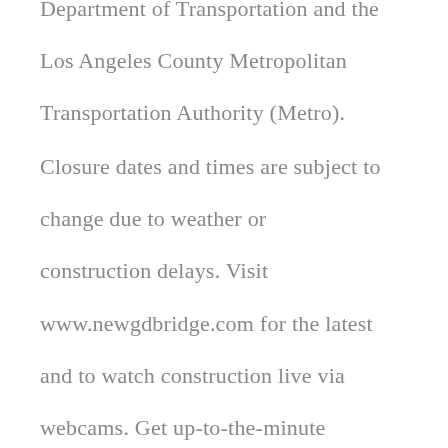Department of Transportation and the Los Angeles County Metropolitan Transportation Authority (Metro). Closure dates and times are subject to change due to weather or construction delays. Visit www.newgdbridge.com for the latest and to watch construction live via webcams. Get up-to-the-minute